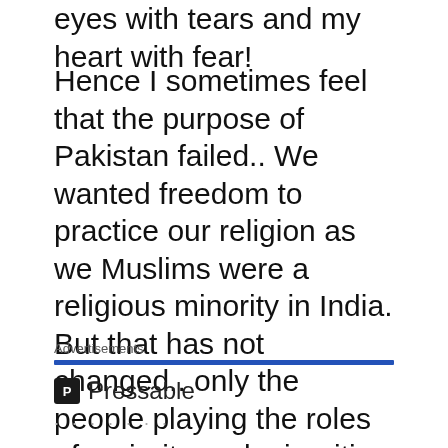eyes with tears and my heart with fear!
Hence I sometimes feel that the purpose of Pakistan failed.. We wanted freedom to practice our religion as we Muslims were a religious minority in India. But that has not changed.. only the people playing the roles of majority and minorities have changed. Pre-partition, the majority was Hindu and the minority was Muslims.. and post partition, the minorities is being played by different sects along with other religious minorities like Christians, Parsis etc.
Advertisements
[Figure (logo): Pressable logo with blue bar and icon]